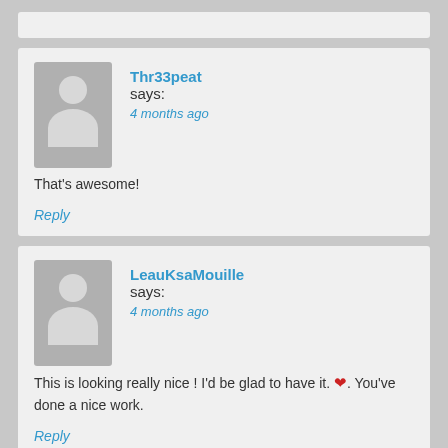Thr33peat says: 4 months ago
That's awesome!
Reply
LeauKsaMouille says: 4 months ago
This is looking really nice ! I'd be glad to have it. ❤. You've done a nice work.
Reply
nikitagr says: 4 months ago